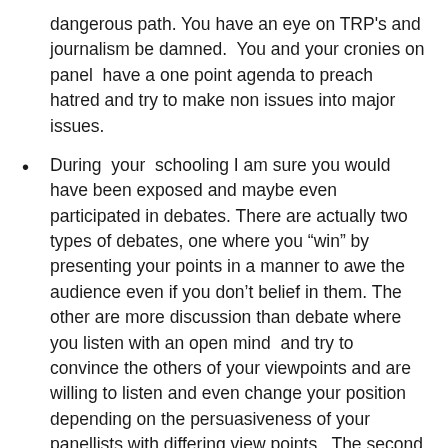dangerous path. You have an eye on TRP's and journalism be damned.  You and your cronies on panel  have a one point agenda to preach hatred and try to make non issues into major issues.
During  your  schooling I am sure you would have been exposed and maybe even participated in debates. There are actually two types of debates, one where you “win” by presenting your points in a manner to awe the audience even if you don’t belief in them. The other are more discussion than debate where you listen with an open mind  and try to convince the others of your viewpoints and are willing to listen and even change your position depending on the persuasiveness of your panellists with differing view points.  The second one is largely fantasy  on my part and does not exist but a responsible journal should really pursue this option. What I never had heard before being subject to your channel was where the moderator had an agenda